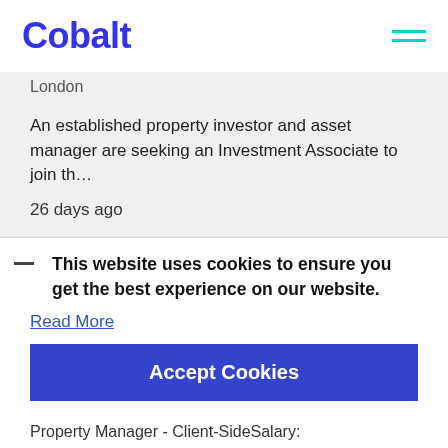Cobalt
London
An established property investor and asset manager are seeking an Investment Associate to join th…
26 days ago
This website uses cookies to ensure you get the best experience on our website.
Read More
Accept Cookies
Property Manager - Client-SideSalary: